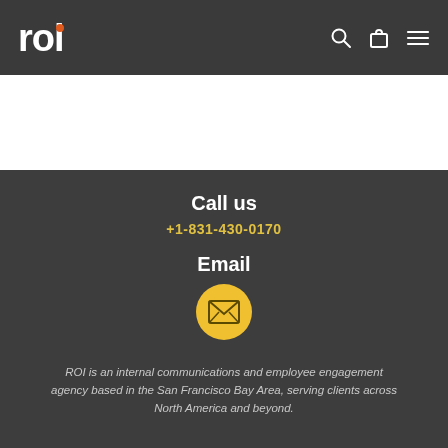[Figure (logo): ROI agency logo with orange dot over the letter i, white text on dark background]
[Figure (other): Navigation icons: search (magnifying glass), cart (bag), and hamburger menu on dark header bar]
Call us
+1-831-430-0170
Email
[Figure (other): Yellow circle with envelope/mail icon in the center]
ROI is an internal communications and employee engagement agency based in the San Francisco Bay Area, serving clients across North America and beyond.